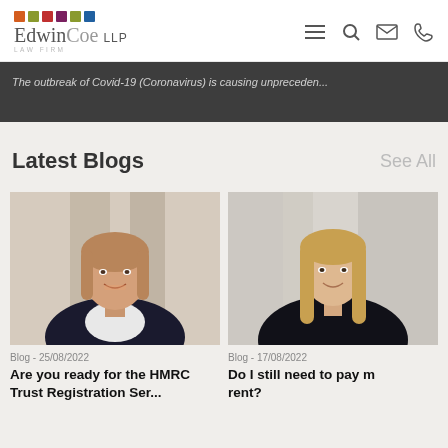[Figure (logo): Edwin Coe LLP Law Firm logo with colored square dots above text]
The outbreak of Covid-19 (Coronavirus) is causing unpreceden...
Latest Blogs
See All
[Figure (photo): Professional headshot of a woman with blonde hair wearing a dark blazer, smiling]
Blog - 25/08/2022
Are you ready for the HMRC Trust Registration Ser...
[Figure (photo): Professional headshot of a woman with long blonde hair, partially visible]
Blog - 17/08/2022
Do I still need to pay my rent?